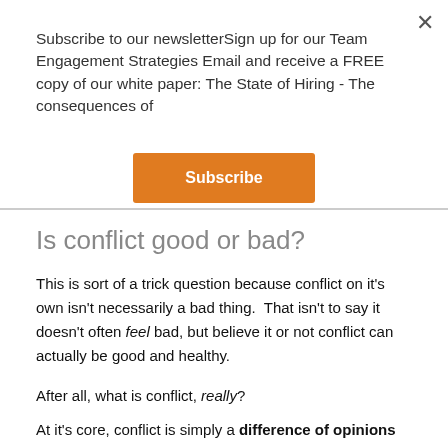Subscribe to our newsletterSign up for our Team Engagement Strategies Email and receive a FREE copy of our white paper: The State of Hiring - The consequences of
Subscribe
Is conflict good or bad?
This is sort of a trick question because conflict on it's own isn't necessarily a bad thing.  That isn't to say it doesn't often feel bad, but believe it or not conflict can actually be good and healthy.
After all, what is conflict, really?
At it's core, conflict is simply a difference of opinions